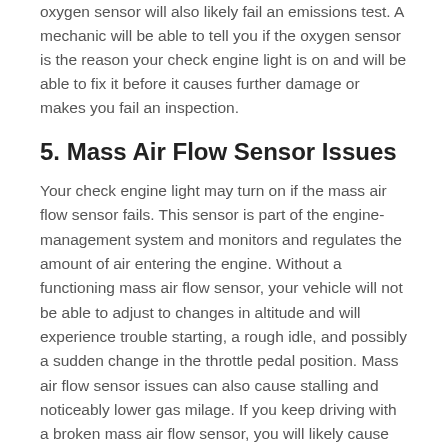oxygen sensor will also likely fail an emissions test. A mechanic will be able to tell you if the oxygen sensor is the reason your check engine light is on and will be able to fix it before it causes further damage or makes you fail an inspection.
5. Mass Air Flow Sensor Issues
Your check engine light may turn on if the mass air flow sensor fails. This sensor is part of the engine-management system and monitors and regulates the amount of air entering the engine. Without a functioning mass air flow sensor, your vehicle will not be able to adjust to changes in altitude and will experience trouble starting, a rough idle, and possibly a sudden change in the throttle pedal position. Mass air flow sensor issues can also cause stalling and noticeably lower gas milage. If you keep driving with a broken mass air flow sensor, you will likely cause other engine parts to break as well.